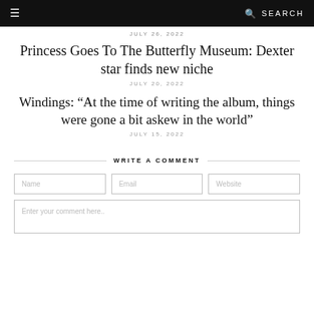≡  🔍 SEARCH
JULY 26, 2022
Princess Goes To The Butterfly Museum: Dexter star finds new niche
JULY 26, 2022
Windings: “At the time of writing the album, things were gone a bit askew in the world”
JULY 15, 2022
WRITE A COMMENT
Name
Email
Website
Enter your comment here..